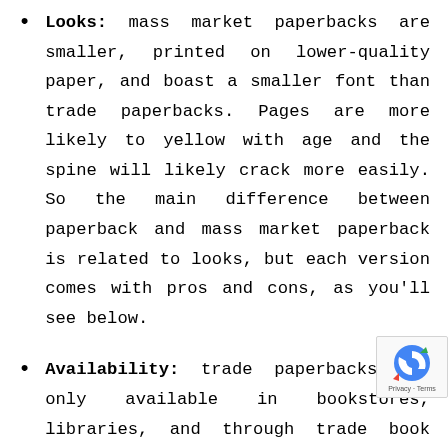Looks: mass market paperbacks are smaller, printed on lower-quality paper, and boast a smaller font than trade paperbacks. Pages are more likely to yellow with age and the spine will likely crack more easily. So the main difference between paperback and mass market paperback is related to looks, but each version comes with pros and cons, as you'll see below.
Availability: trade paperbacks are only available in bookstores, libraries, and through trade book dealers (including online outlets). In contrast, mass market paperbacks can be found in grocery stores, airports, train stations, and so on. In other